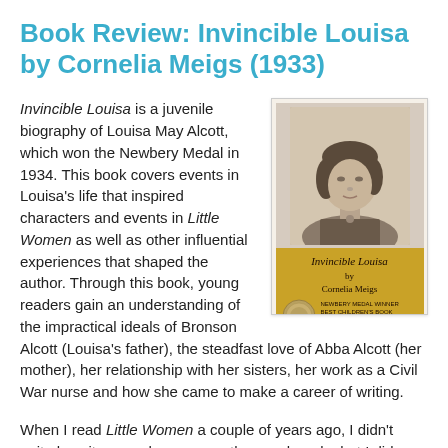Book Review: Invincible Louisa by Cornelia Meigs (1933)
Invincible Louisa is a juvenile biography of Louisa May Alcott, which won the Newbery Medal in 1934. This book covers events in Louisa's life that inspired characters and events in Little Women as well as other influential experiences that shaped the author. Through this book, young readers gain an understanding of the impractical ideals of Bronson Alcott (Louisa's father), the steadfast love of Abba Alcott (her mother), her relationship with her sisters, her work as a Civil War nurse and how she came to make a career of writing.
[Figure (photo): Book cover of Invincible Louisa by Cornelia Meigs, showing a sepia-toned portrait photograph of Louisa May Alcott on the upper portion, and the book title and author name on a gold/yellow background on the lower portion, with a Newbery Medal seal.]
When I read Little Women a couple of years ago, I didn't quite love it as much as many other readers do, but I did